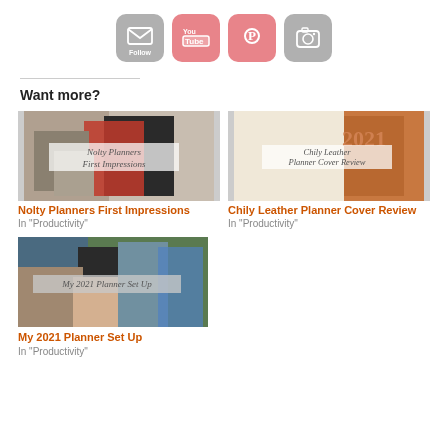[Figure (infographic): Four social media icon buttons: Follow (email), YouTube, Pinterest, Instagram/camera]
Want more?
[Figure (photo): Thumbnail image for 'Nolty Planners First Impressions' blog post]
Nolty Planners First Impressions
In "Productivity"
[Figure (photo): Thumbnail image for 'Chily Leather Planner Cover Review' blog post]
Chily Leather Planner Cover Review
In "Productivity"
[Figure (photo): Thumbnail image for 'My 2021 Planner Set Up' blog post]
My 2021 Planner Set Up
In "Productivity"